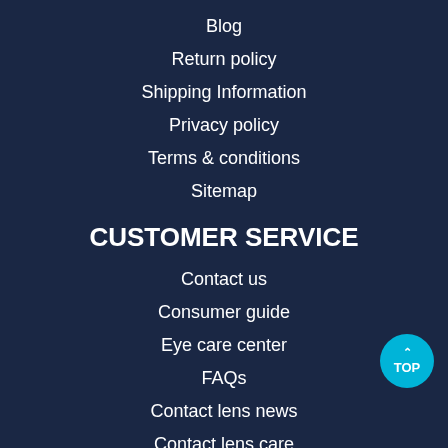Blog
Return policy
Shipping Information
Privacy policy
Terms & conditions
Sitemap
CUSTOMER SERVICE
Contact us
Consumer guide
Eye care center
FAQs
Contact lens news
Contact lens care
Student Discount